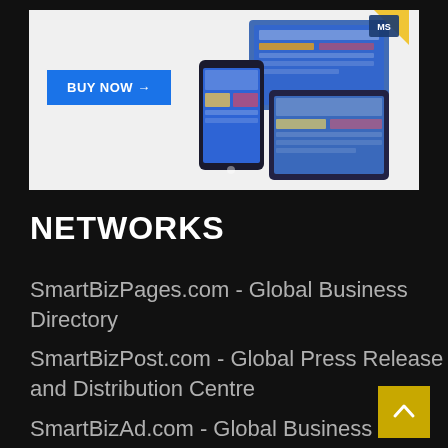[Figure (screenshot): Advertisement banner with a BUY NOW button on a light background, showing device mockups on the right side.]
NETWORKS
SmartBizPages.com - Global Business Directory
SmartBizPost.com - Global Press Release and Distribution Centre
SmartBizAd.com - Global Business Classified Ads
SmartBizEvents.com - Global Event Directory